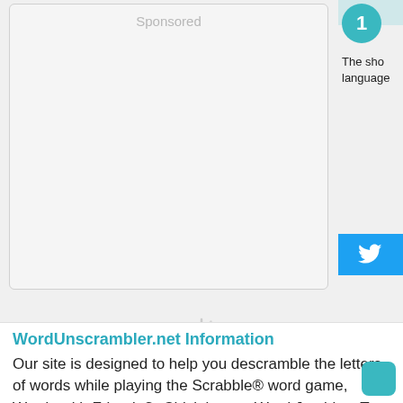[Figure (other): Sponsored ad placeholder box with 'Sponsored' text at top]
[Figure (other): Right panel with teal circle badge showing '1', partial text 'The sho language', and teal Twitter button]
[Figure (other): Spinner loading icon with 'Sponsored' label and 'Powered by Carambola' text below]
WordUnscrambler.net Information
Our site is designed to help you descramble the letters of words while playing the Scrabble® word game, Words with Friends®, Chicktionary, Word Jumbles, Text Twist, Super Text Twist, Text Twist 2, Word Whomp, Literati, Wordscraper, Lexulous, Wordfeud and many other word games. Cheating isn't always a bad thing! in our case it is a learning